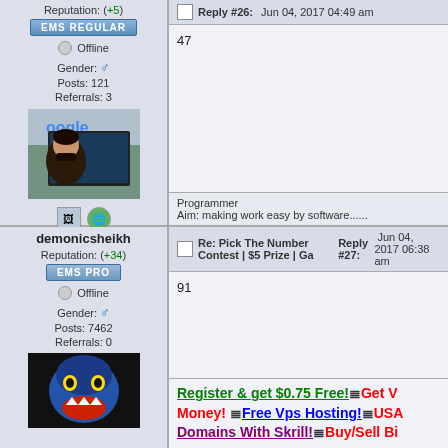Reputation: (+5)
EMS REGULAR
Offline
Gender: ♂
Posts: 121
Referrals: 3
[Figure (photo): User avatar photo of a young man in front of a laptop with Google logo visible in background]
Reply #26: Jun 04, 2017 04:49 am
47
Programmer
Aim: making work easy by software......
demionicsheikh
Reputation: (+34)
EMS PRO
Offline
Gender: ♂
Posts: 7462
Referrals: 0
Re: Pick The Number Contest | $5 Prize | Ga
Reply #27: Jun 04, 2017 06:38 am
91
[Figure (photo): User avatar showing a blue dinosaur-like creature with red mouth and sharp teeth]
Register & get $0.75 Free!=Get V Money! =Free Vps Hosting!=USA Domains With Skrill!=Buy/Sell Bi